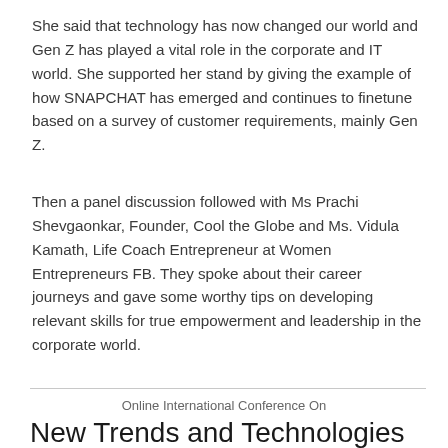She said that technology has now changed our world and Gen Z has played a vital role in the corporate and IT world. She supported her stand by giving the example of how SNAPCHAT has emerged and continues to finetune based on a survey of customer requirements, mainly Gen Z.
Then a panel discussion followed with Ms Prachi Shevgaonkar, Founder, Cool the Globe and Ms. Vidula Kamath, Life Coach Entrepreneur at Women Entrepreneurs FB. They spoke about their career journeys and gave some worthy tips on developing relevant skills for true empowerment and leadership in the corporate world.
Online International Conference On
New Trends and Technologies in Digital Libraries